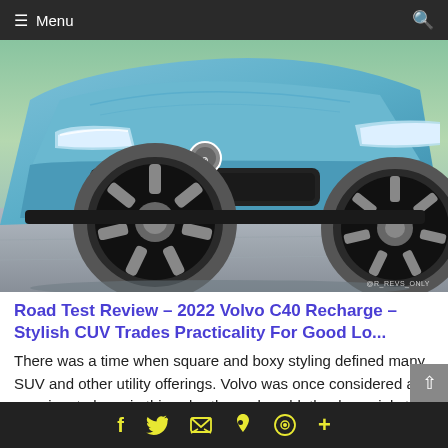Menu
[Figure (photo): Front three-quarter view of a 2022 Volvo C40 Recharge in blue, showing the front grille, headlights, and wheel. Watermark reads @R_REVS_ONLY.]
Road Test Review – 2022 Volvo C40 Recharge – Stylish CUV Trades Practicality For Good Lo...
There was a time when square and boxy styling defined many SUV and other utility offerings. Volvo was once considered a prominent player in this cube-themed world, thanks mainly to its lineup of estates. But as tastes have changed, the brutish slab-sided entries of yesteryear are rapidly being replaced by
f  Twitter  Email  Pinterest  WhatsApp  +